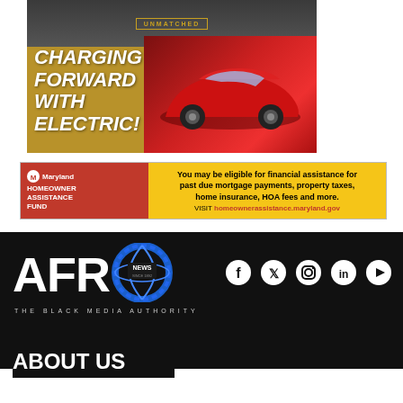[Figure (illustration): Advertisement showing 'Charging Forward With Electric!' with a red electric car and group of people on a dark gold/brown background.]
[Figure (illustration): Maryland Homeowner Assistance Fund advertisement on yellow background. Text: 'You may be eligible for financial assistance for past due mortgage payments, property taxes, home insurance, HOA fees and more. VISIT homeownerassistance.maryland.gov']
[Figure (logo): AFRO News logo with circular blue globe icon and tagline 'THE BLACK MEDIA AUTHORITY' on black background, with social media icons (Facebook, Twitter, Instagram, LinkedIn, YouTube)]
ABOUT US